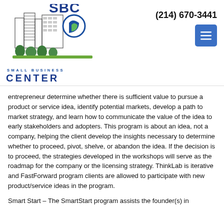[Figure (logo): Small Business Center (SBC) logo with building illustration and text 'SMALL BUSINESS CENTER']
(214) 670-3441
entrepreneur determine whether there is sufficient value to pursue a product or service idea, identify potential markets, develop a path to market strategy, and learn how to communicate the value of the idea to early stakeholders and adopters. This program is about an idea, not a company, helping the client develop the insights necessary to determine whether to proceed, pivot, shelve, or abandon the idea. If the decision is to proceed, the strategies developed in the workshops will serve as the roadmap for the company or the licensing strategy. ThinkLab is iterative and FastForward program clients are allowed to participate with new product/service ideas in the program.
Smart Start – The SmartStart program assists the founder(s) in